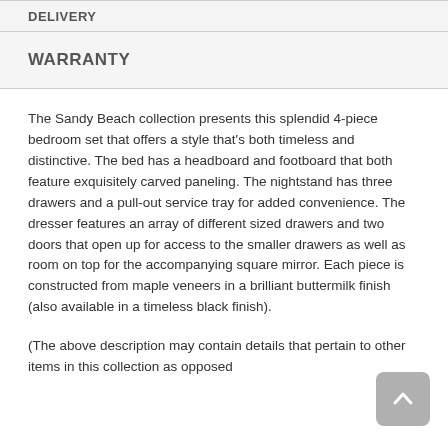DELIVERY
WARRANTY
The Sandy Beach collection presents this splendid 4-piece bedroom set that offers a style that's both timeless and distinctive. The bed has a headboard and footboard that both feature exquisitely carved paneling. The nightstand has three drawers and a pull-out service tray for added convenience. The dresser features an array of different sized drawers and two doors that open up for access to the smaller drawers as well as room on top for the accompanying square mirror. Each piece is constructed from maple veneers in a brilliant buttermilk finish (also available in a timeless black finish).
(The above description may contain details that pertain to other items in this collection as opposed